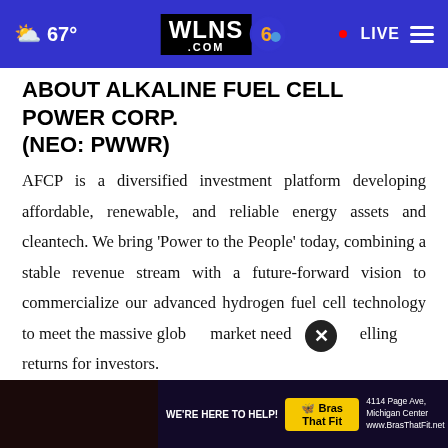67° WLNS6 .COM LIVE
ABOUT ALKALINE FUEL CELL POWER CORP. (NEO: PWWR)
AFCP is a diversified investment platform developing affordable, renewable, and reliable energy assets and cleantech. We bring ‘Power to the People’ today, combining a stable revenue stream with a future-forward vision to commercialize our advanced hydrogen fuel cell technology to meet the massive global market need... selling returns for investors.
[Figure (screenshot): Advertisement banner: WE'RE HERE TO HELP! Bras That Fit, 4114 Page Ave, Michigan Center, www.BrasThatFit.net]